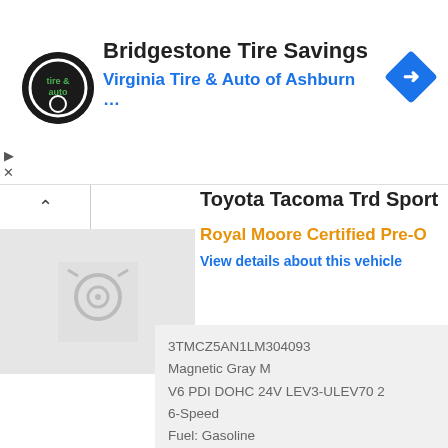[Figure (screenshot): Advertisement banner for Bridgestone Tire Savings at Virginia Tire & Auto of Ashburn with circular logo and blue diamond navigation icon]
Bridgestone Tire Savings
Virginia Tire & Auto of Ashburn …
Toyota Tacoma Trd Sport
Royal Moore Certified Pre-O
View details about this vehicle
3TMCZ5AN1LM304093
Magnetic Gray M
V6 PDI DOHC 24V LEV3-ULEV70 2
6-Speed
Fuel: Gasoline
View Details »
Location: Hillsboro, OR 97123